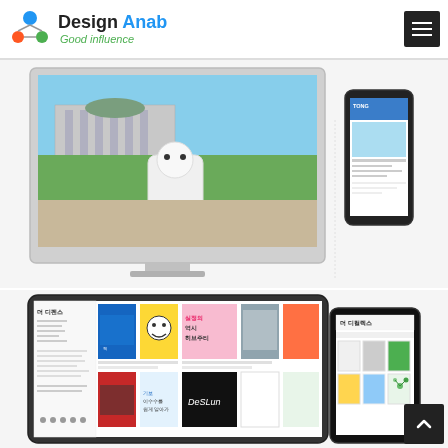Design Anab — Good influence
[Figure (screenshot): Desktop monitor showing a website with photo of Olympic mascot in front of Korean National Assembly building, alongside a smartphone showing the same website (TONG branding)]
[Figure (screenshot): Tablet showing an e-book/digital library website (더 디펜스) with colorful book covers, alongside a smartphone showing the same site in mobile view]